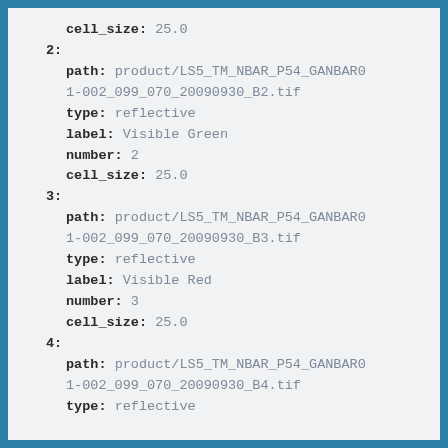cell_size: 25.0
2:
  path: product/LS5_TM_NBAR_P54_GANBAR01-002_099_070_20090930_B2.tif
  type: reflective
  label: Visible Green
  number: 2
  cell_size: 25.0
3:
  path: product/LS5_TM_NBAR_P54_GANBAR01-002_099_070_20090930_B3.tif
  type: reflective
  label: Visible Red
  number: 3
  cell_size: 25.0
4:
  path: product/LS5_TM_NBAR_P54_GANBAR01-002_099_070_20090930_B4.tif
  type: reflective